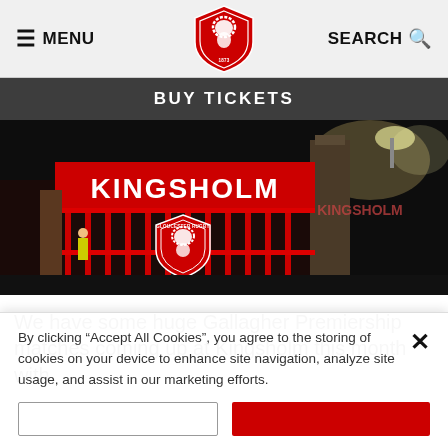MENU | [Gloucester Rugby Logo] | SEARCH
BUY TICKETS
[Figure (photo): Nighttime photo of Kingsholm stadium entrance with red gates featuring the Gloucester Rugby lion crest and KINGSHOLM text illuminated]
We have some huge Gallagher Premiership matches coming up at Kingsholm this month with
By clicking “Accept All Cookies”, you agree to the storing of cookies on your device to enhance site navigation, analyze site usage, and assist in our marketing efforts.